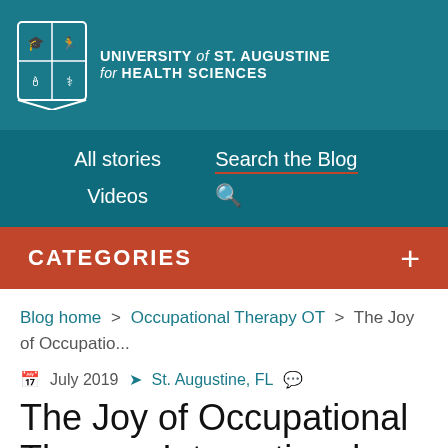[Figure (logo): University of St. Augustine for Health Sciences shield logo and wordmark on teal background]
All stories | Search the Blog | Videos | Search icon
CATEGORIES +
Blog home > Occupational Therapy OT > The Joy of Occupatio...
July 2019  St. Augustine, FL
The Joy of Occupational Therapy International